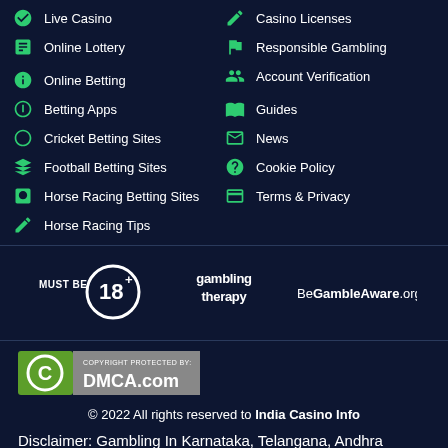Live Casino
Online Lottery
Online Betting
Betting Apps
Cricket Betting Sites
Football Betting Sites
Horse Racing Betting Sites
Horse Racing Tips
Casino Licenses
Responsible Gambling
Account Verification
Guides
News
Cookie Policy
Terms & Privacy
[Figure (logo): Must Be 18+ badge with circle icon]
[Figure (logo): Gambling Therapy logo]
[Figure (logo): BeGambleAware.org logo]
[Figure (logo): DMCA.com Copyright Protection badge]
© 2022 All rights reserved to India Casino Info
Disclaimer: Gambling In Karnataka, Telangana, Andhra Pradesh & Tamil Nadu Is Forbidden